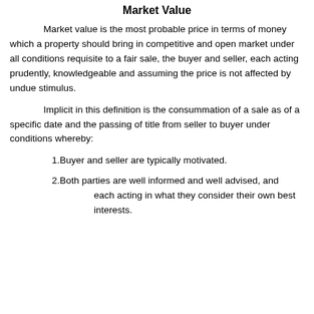Market Value
Market value is the most probable price in terms of money which a property should bring in competitive and open market under all conditions requisite to a fair sale, the buyer and seller, each acting prudently, knowledgeable and assuming the price is not affected by undue stimulus.
Implicit in this definition is the consummation of a sale as of a specific date and the passing of title from seller to buyer under conditions whereby:
1.Buyer and seller are typically motivated.
2.Both parties are well informed and well advised, and each acting in what they consider their own best interests.